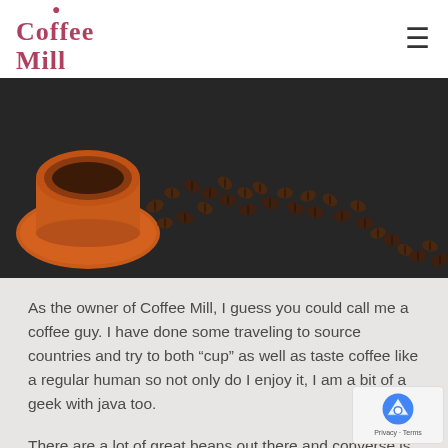Coffee Mill
[Figure (photo): Overhead view of an orange coffee cup and saucer with coffee beans spilled across a dark slate surface, forming a curved trail.]
As the owner of Coffee Mill, I guess you could call me a coffee guy. I have done some traveling to source countries and try to both “cup” as well as taste coffee like a regular human so not only do I enjoy it, I am a bit of a geek with java too.
There are a lot of great beans out there and converse is a lot of really bad stuff out there. Fortunately finding a good